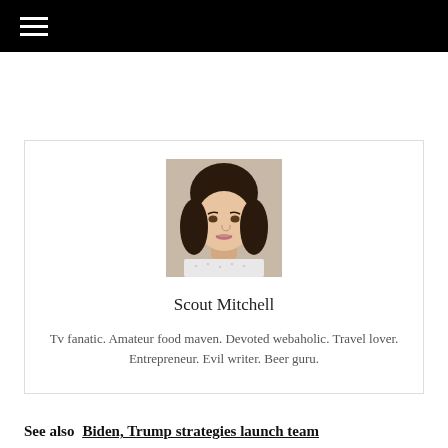[Figure (photo): Profile photo of a young woman with dark wavy hair, light skin, smiling slightly, wearing a white dotted top, against a beige background.]
Scout Mitchell
Tv fanatic. Amateur food maven. Devoted webaholic. Travel lover. Entrepreneur. Evil writer. Beer guru.
See also  Biden, Trump strategies launch team